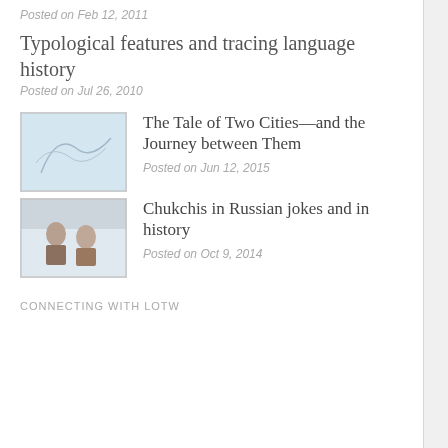Posted on Feb 12, 2011
Typological features and tracing language history
Posted on Jul 26, 2010
[Figure (photo): Thumbnail map image for The Tale of Two Cities post]
The Tale of Two Cities—and the Journey between Them
Posted on Jun 12, 2015
[Figure (photo): Thumbnail illustration of Chukchi people for Chukchis in Russian jokes post]
Chukchis in Russian jokes and in history
Posted on Oct 9, 2014
CONNECTING WITH LOTW